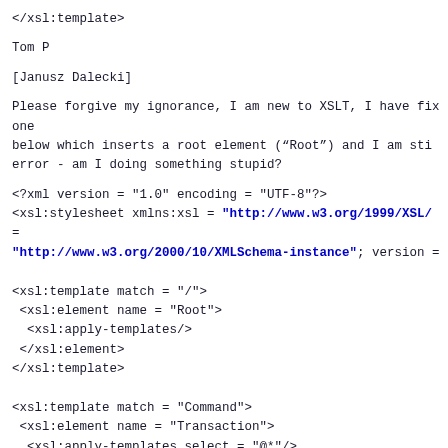</xsl:template>
Tom P
[Janusz Dalecki]
Please forgive my ignorance, I am new to XSLT, I have fix
one
below which inserts a root element (“Root”) and I am sti
error - am I doing something stupid?
<?xml version = "1.0" encoding = "UTF-8"?>
<xsl:stylesheet xmlns:xsl = "http://www.w3.org/1999/XSL/T
=
"http://www.w3.org/2000/10/XMLSchema-instance"; version =

<xsl:template match = "/">
 <xsl:element name = "Root">
  <xsl:apply-templates/>
 </xsl:element>
</xsl:template>

<xsl:template match = "Command">
 <xsl:element name = "Transaction">
  <xsl:apply-templates select = "@*"/>
 </xsl:element>
</xsl:template>


<xsl:template match = "Command[@xsi:type]">